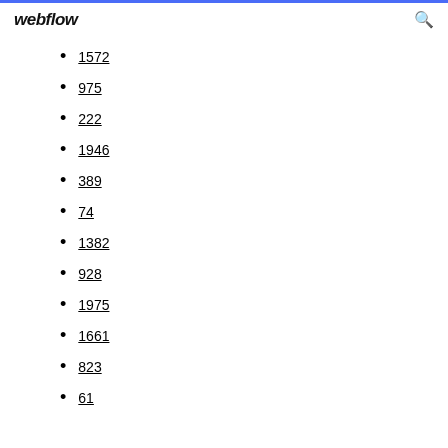webflow
1572
975
222
1946
389
74
1382
928
1975
1661
823
61